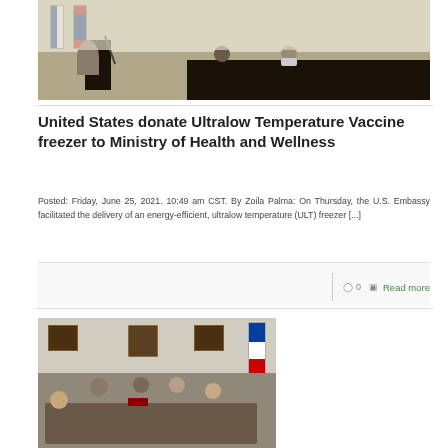[Figure (photo): A man in a suit speaking at a podium with Belize and U.S. flags, with two masked people seated at a table behind him in a conference room.]
United States donate Ultralow Temperature Vaccine freezer to Ministry of Health and Wellness
Posted: Friday, June 25, 2021. 10:49 am CST. By Zoila Palma: On Thursday, the U.S. Embassy facilitated the delivery of an energy-efficient, ultralow temperature (ULT) freezer [...]
0   Read more
[Figure (photo): A meeting scene showing several people seated around a conference table in an office with framed plaques on the walls and a Belize flag in the background.]